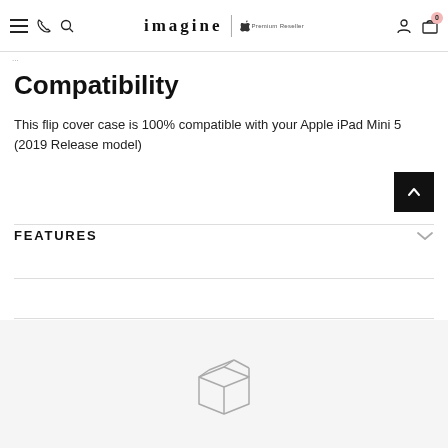imagine | Apple Premium Reseller — navigation header with menu, phone, search, account, cart icons
Compatibility
This flip cover case is 100% compatible with your Apple iPad Mini 5 (2019 Release model)
FEATURES
[Figure (illustration): A box/package icon illustration in light grey outline style at the bottom of the page]